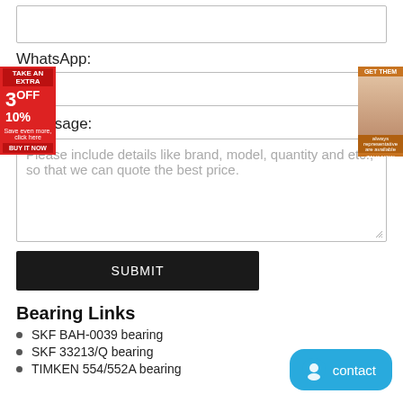[Figure (other): Input text box (empty, for form field)]
WhatsApp:
[Figure (other): WhatsApp input field (text input box)]
* Message:
Please include details like brand, model, quantity and etc., so that we can quote the best price.
[Figure (other): Submit button]
Bearing Links
SKF BAH-0039 bearing
SKF 33213/Q bearing
TIMKEN 554/552A bearing
[Figure (other): Promotional overlay left: TAKE AN EXTRA 3 OFF 10%]
[Figure (other): Promotional overlay right with person photo]
[Figure (other): Contact chat button]